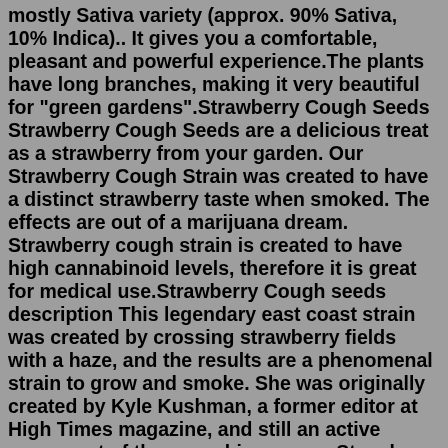mostly Sativa variety (approx. 90% Sativa, 10% Indica).. It gives you a comfortable, pleasant and powerful experience.The plants have long branches, making it very beautiful for "green gardens".Strawberry Cough Seeds Strawberry Cough Seeds are a delicious treat as a strawberry from your garden. Our Strawberry Cough Strain was created to have a distinct strawberry taste when smoked. The effects are out of a marijuana dream. Strawberry cough strain is created to have high cannabinoid levels, therefore it is great for medical use.Strawberry Cough seeds description This legendary east coast strain was created by crossing strawberry fields with a haze, and the results are a phenomenal strain to grow and smoke. She was originally created by Kyle Kushman, a former editor at High Times magazine, and still an active proponent of the cannabis scene. nStrawberry Cough Feminized smells like strawberries and candy. She sweet and a favorite treat among the female population. If your girl is picky when it comes to smoking, try sharing a